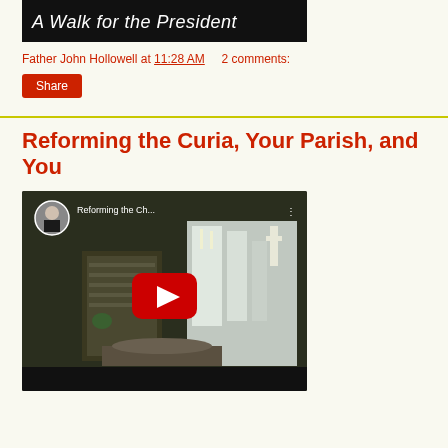[Figure (screenshot): Partial YouTube video thumbnail with dark background showing partial title text]
Father John Hollowell at 11:28 AM    2 comments:
Share
Reforming the Curia, Your Parish, and You
[Figure (screenshot): YouTube video thumbnail for 'Reforming the Ch...' showing a church interior with altar and a red YouTube play button in the center. A circular profile photo of a priest is in the top-left corner.]